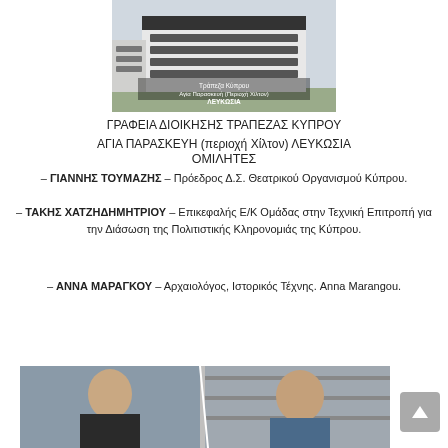[Figure (photo): Photo of Bank of Cyprus administrative office building in Agia Paraskevi (Hilton area), Nicosia. A modern white building with an overlay caption in Greek.]
ΓΡΑΦΕΙΑ ΔΙΟΙΚΗΣΗΣ ΤΡΑΠΕΖΑΣ ΚΥΠΡΟΥ
ΑΓΙΑ ΠΑΡΑΣΚΕΥΗ (περιοχή Χίλτον) ΛΕΥΚΩΣΙΑ
ΟΜΙΛΗΤΕΣ
– ΓΙΑΝΝΗΣ ΤΟΥΜΑΖΗΣ – Πρόεδρος Δ.Σ. Θεατρικού Οργανισμού Κύπρου.
– ΤΑΚΗΣ ΧΑΤΖΗΔΗΜΗΤΡΙΟΥ – Επικεφαλής Ε/Κ Ομάδας στην Τεχνική Επιτροπή για την Διάσωση της Πολιτιστικής Κληρονομιάς της Κύπρου.
– ΑΝΝΑ ΜΑΡΑΓΚΟΥ – Αρχαιολόγος, Ιστορικός Τέχνης. Anna Marangou.
[Figure (photo): Photo of two people, a younger man on the left and an older man on the right, associated with the speakers listed.]